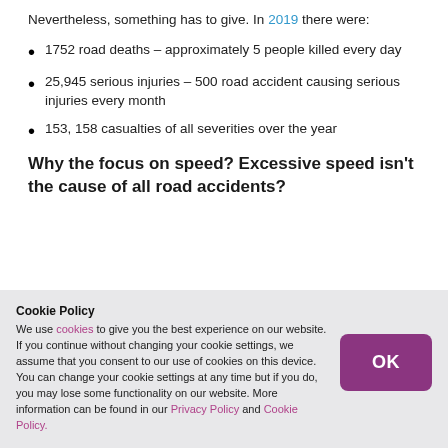Nevertheless, something has to give. In 2019 there were:
1752 road deaths – approximately 5 people killed every day
25,945 serious injuries – 500 road accident causing serious injuries every month
153, 158 casualties of all severities over the year
Why the focus on speed? Excessive speed isn't the cause of all road accidents?
Cookie Policy
We use cookies to give you the best experience on our website. If you continue without changing your cookie settings, we assume that you consent to our use of cookies on this device. You can change your cookie settings at any time but if you do, you may lose some functionality on our website. More information can be found in our Privacy Policy and Cookie Policy.